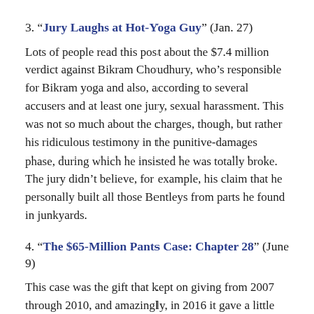3. "Jury Laughs at Hot-Yoga Guy" (Jan. 27)
Lots of people read this post about the $7.4 million verdict against Bikram Choudhury, who’s responsible for Bikram yoga and also, according to several accusers and at least one jury, sexual harassment. This was not so much about the charges, though, but rather his ridiculous testimony in the punitive-damages phase, during which he insisted he was totally broke. The jury didn’t believe, for example, his claim that he personally built all those Bentleys from parts he found in junkyards.
4. "The $65-Million Pants Case: Chapter 28" (June 9)
This case was the gift that kept on giving from 2007 through 2010, and amazingly, in 2016 it gave a little more.